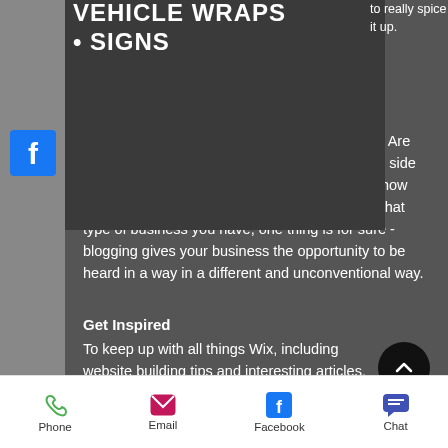VEHICLE WRAPS
• SIGNS
to really spice it up. pepper it with slang to keep readers interested. Are you a programmer? Stay on the more technical side by offering weekly tips, tricks, and hacks that show off your knowledge of the industry. No matter what type of business you have, one thing is for sure - blogging gives your business the opportunity to be heard in a way in a different and unconventional way.
Get Inspired
To keep up with all things Wix, including website building tips and interesting articles, head over to to the Wix Blog.
Phone  Email  Facebook  Chat